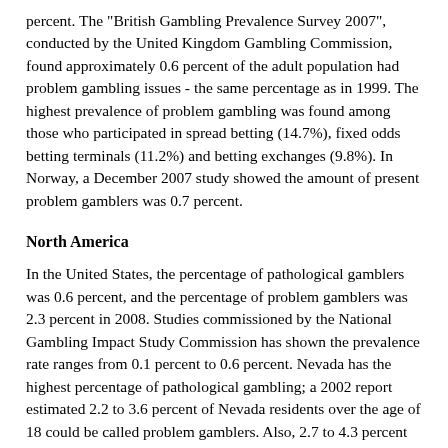percent. The "British Gambling Prevalence Survey 2007", conducted by the United Kingdom Gambling Commission, found approximately 0.6 percent of the adult population had problem gambling issues - the same percentage as in 1999. The highest prevalence of problem gambling was found among those who participated in spread betting (14.7%), fixed odds betting terminals (11.2%) and betting exchanges (9.8%). In Norway, a December 2007 study showed the amount of present problem gamblers was 0.7 percent.
North America
In the United States, the percentage of pathological gamblers was 0.6 percent, and the percentage of problem gamblers was 2.3 percent in 2008. Studies commissioned by the National Gambling Impact Study Commission has shown the prevalence rate ranges from 0.1 percent to 0.6 percent. Nevada has the highest percentage of pathological gambling; a 2002 report estimated 2.2 to 3.6 percent of Nevada residents over the age of 18 could be called problem gamblers. Also, 2.7 to 4.3 percent could be called probable pathological gamblers.
According to a 1997 meta-analysis by Harvard Medical School's Division on Addictions, 1.1 percent of the adult population of the United States and Canada could be called pathological gamblers.